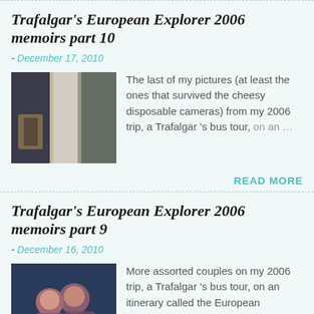Trafalgar's European Explorer 2006 memoirs part 10
- December 17, 2010
[Figure (photo): Thumbnail photo showing boots/shoes near a window with curtains, from Trafalgar tour 2006]
The last of my pictures (at least the ones that survived the cheesy disposable cameras) from my 2006 trip, a Trafalgar 's bus tour, on an …
READ MORE
Trafalgar's European Explorer 2006 memoirs part 9
- December 16, 2010
[Figure (photo): Thumbnail photo showing a couple (two people) posing together, from Trafalgar tour 2006]
More assorted couples on my 2006 trip, a Trafalgar 's bus tour, on an itinerary called the European Explorer. An American couple wh…